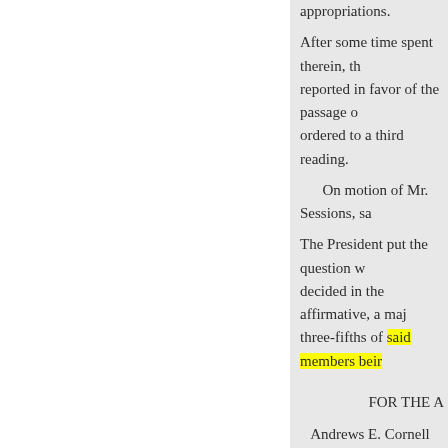appropriations.
After some time spent therein, the committee reported in favor of the passage of the bill, and ordered to a third reading.
On motion of Mr. Sessions, sa
The President put the question whether the bill should pass, decided in the affirmative, a majority and three-fifths of said members being present and voting therefor.
FOR THE A
Andrews E. Cornell Kline
Barnett
Crowley
La Ban
Bennett
Gibson
Lent